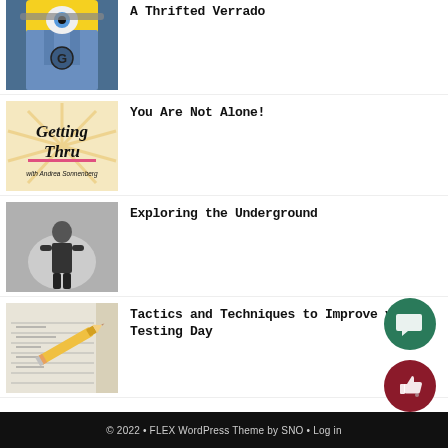A Thrifted Verrado
You Are Not Alone!
Exploring the Underground
Tactics and Techniques to Improve your Testing Day
© 2022 • FLEX WordPress Theme by SNO • Log in